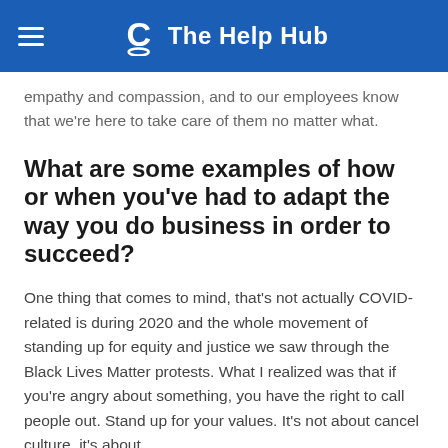The Help Hub
empathy and compassion, and to our employees know that we're here to take care of them no matter what.
What are some examples of how or when you've had to adapt the way you do business in order to succeed?
One thing that comes to mind, that's not actually COVID-related is during 2020 and the whole movement of standing up for equity and justice we saw through the Black Lives Matter protests. What I realized was that if you're angry about something, you have the right to call people out. Stand up for your values. It's not about cancel culture, it's about